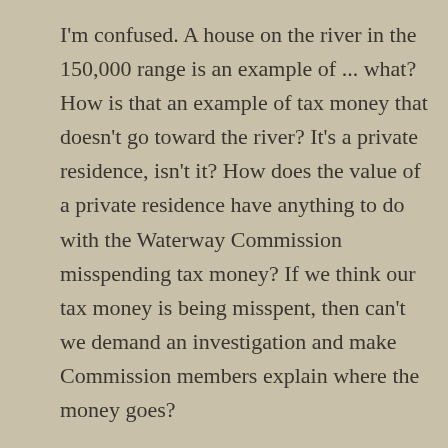I'm confused. A house on the river in the 150,000 range is an example of ... what? How is that an example of tax money that doesn't go toward the river? It's a private residence, isn't it? How does the value of a private residence have anything to do with the Waterway Commission misspending tax money? If we think our tax money is being misspent, then can't we demand an investigation and make Commission members explain where the money goes?
By the way, there are dozens of properties along Cane River Lake valued at $150,000 or more and not just here in town. Should we make property owners with lakefront